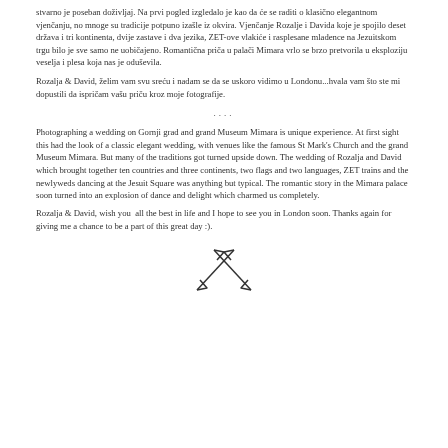stvarno je poseban doživljaj. Na prvi pogled izgledalo je kao da će se raditi o klasično elegantnom vjenčanju, no mnoge su tradicije potpuno izašle iz okvira. Vjenčanje Rozalje i Davida koje je spojilo deset država i tri kontinenta, dvije zastave i dva jezika, ZET-ove vlakiće i rasplesane mladence na Jezuitskom trgu bilo je sve samo ne uobičajeno. Romantična priča u palači Mimara vrlo se brzo pretvorila u eksploziju veselja i plesa koja nas je oduševila.
Rozalja & David, želim vam svu sreću i nadam se da se uskoro vidimo u Londonu...hvala vam što ste mi dopustili da ispričam vašu priču kroz moje fotografije.
....
Photographing a wedding on Gornji grad and grand Museum Mimara is unique experience. At first sight this had the look of a classic elegant wedding, with venues like the famous St Mark's Church and the grand Museum Mimara. But many of the traditions got turned upside down. The wedding of Rozalja and David which brought together ten countries and three continents, two flags and two languages, ZET trains and the newlyweds dancing at the Jesuit Square was anything but typical. The romantic story in the Mimara palace soon turned into an explosion of dance and delight which charmed us completely.
Rozalja & David, wish you  all the best in life and I hope to see you in London soon. Thanks again for giving me a chance to be a part of this great day :).
[Figure (illustration): Two crossed arrows decorative icon, hand-drawn style, pointing in opposite diagonal directions.]